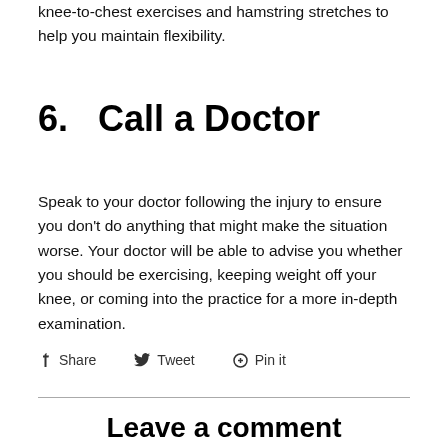knee-to-chest exercises and hamstring stretches to help you maintain flexibility.
6.   Call a Doctor
Speak to your doctor following the injury to ensure you don't do anything that might make the situation worse. Your doctor will be able to advise you whether you should be exercising, keeping weight off your knee, or coming into the practice for a more in-depth examination.
Share   Tweet   Pin it
Leave a comment